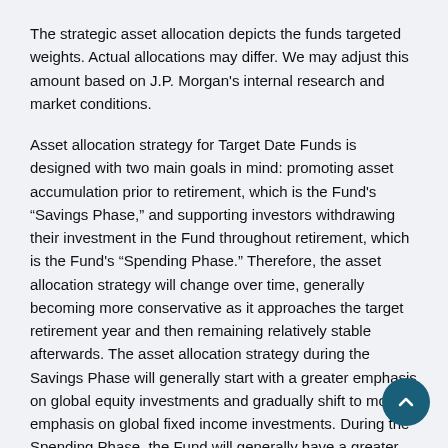The strategic asset allocation depicts the funds targeted weights. Actual allocations may differ. We may adjust this amount based on J.P. Morgan's internal research and market conditions.
Asset allocation strategy for Target Date Funds is designed with two main goals in mind: promoting asset accumulation prior to retirement, which is the Fund's “Savings Phase,” and supporting investors withdrawing their investment in the Fund throughout retirement, which is the Fund's “Spending Phase.” Therefore, the asset allocation strategy will change over time, generally becoming more conservative as it approaches the target retirement year and then remaining relatively stable afterwards. The asset allocation strategy during the Savings Phase will generally start with a greater emphasis on global equity investments and gradually shift to more emphasis on global fixed income investments. During the Spending Phase, the Fund will generally have a greater emphasis on global fixed income investments. The Spending Phase of the Fund is designed for investors in retirement who intend to spend down their holdings in the Fund. There is no guarantee that the Fund will provide sufficient income...